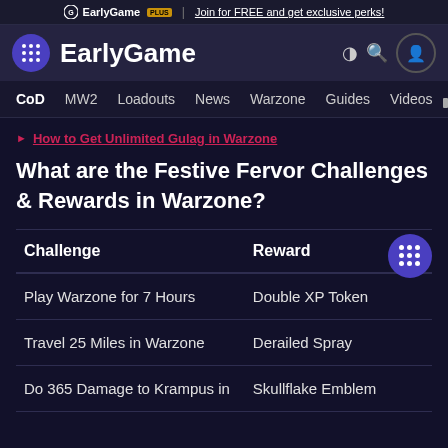EarlyGame PLUS | Join for FREE and get exclusive perks!
[Figure (logo): EarlyGame website header with logo, site name, navigation icons]
CoD  MW2  Loadouts  News  Warzone  Guides  Videos
How to Get Unlimited Gulag in Warzone
What are the Festive Fervor Challenges & Rewards in Warzone?
| Challenge | Reward |
| --- | --- |
| Play Warzone for 7 Hours | Double XP Token |
| Travel 25 Miles in Warzone | Derailed Spray |
| Do 365 Damage to Krampus in | Skullflake Emblem |